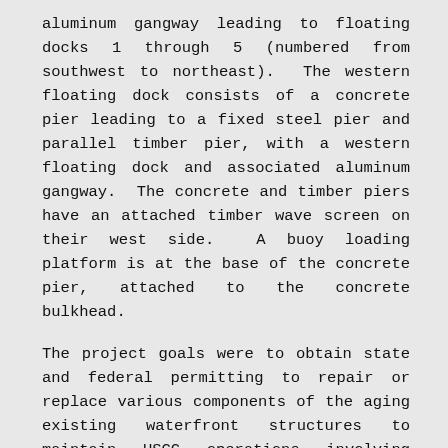aluminum gangway leading to floating docks 1 through 5 (numbered from southwest to northeast). The western floating dock consists of a concrete pier leading to a fixed steel pier and parallel timber pier, with a western floating dock and associated aluminum gangway. The concrete and timber piers have an attached timber wave screen on their west side. A buoy loading platform is at the base of the concrete pier, attached to the concrete bulkhead.
The project goals were to obtain state and federal permitting to repair or replace various components of the aging existing waterfront structures to maintain USCG operations involving maritime homeland security, law enforcement, search and rescue, marine environmental protection, and maintaining aids to navigation.
ANAMAR generated all application materials necessary for USCG to obtain a Coastal Management Consistency